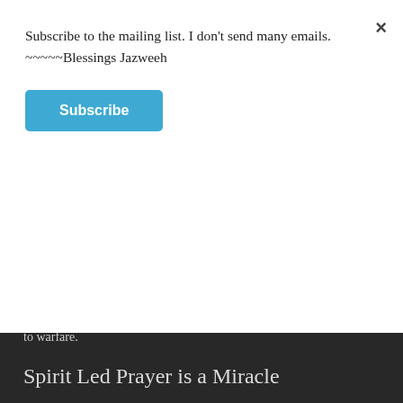Subscribe to the mailing list. I don't send many emails.
~~~~~Blessings Jazweeh
Subscribe
to warfare.
Spirit Led Prayer is a Miracle
There is a huge difference in the two types of prayer.  You could liken it to the difference between a manner of begging God in supplication to taking authority, picking up weapons, and blasting demons to hell. The countenance of the prayer would be like comparing a grieving mother whose child has been missing to the